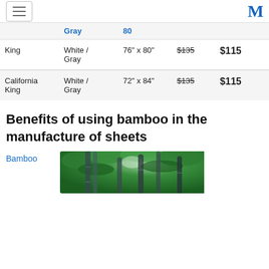[Hamburger menu] [M logo]
|  | Gray | 80 |  |  |
| King | White / Gray | 76" x 80" | $135 | $115 |
| California King | White / Gray | 72" x 84" | $135 | $115 |
Benefits of using bamboo in the manufacture of sheets
Bamboo
[Figure (photo): Close-up photo of green bamboo stalks with lush foliage, lit from behind]